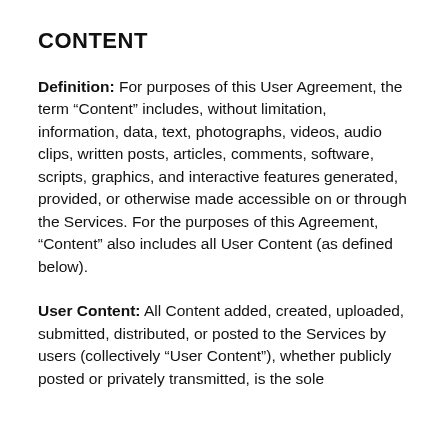CONTENT
Definition: For purposes of this User Agreement, the term “Content” includes, without limitation, information, data, text, photographs, videos, audio clips, written posts, articles, comments, software, scripts, graphics, and interactive features generated, provided, or otherwise made accessible on or through the Services. For the purposes of this Agreement, “Content” also includes all User Content (as defined below).
User Content: All Content added, created, uploaded, submitted, distributed, or posted to the Services by users (collectively “User Content”), whether publicly posted or privately transmitted, is the sole